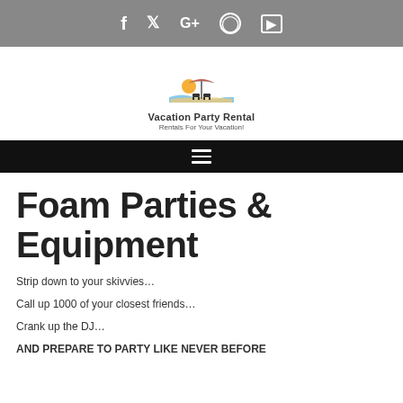f  ✓  G+  ⊙  ▶
[Figure (logo): Vacation Party Rental logo with beach chairs and umbrella graphic, text 'Vacation Party Rental' and tagline 'Rentals For Your Vacation!']
≡ (hamburger navigation menu)
Foam Parties & Equipment
Strip down to your skivvies…
Call up 1000 of your closest friends…
Crank up the DJ…
AND PREPARE TO PARTY LIKE NEVER BEFORE